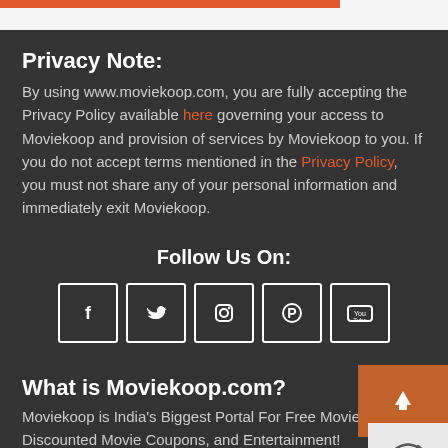Privacy Note:
By using www.moviekoop.com, you are fully accepting the Privacy Policy available here governing your access to Moviekoop and provision of services by Moviekoop to you. If you do not accept terms mentioned in the Privacy Policy, you must not share any of your personal information and immediately exit Moviekoop.
Follow Us On:
[Figure (infographic): Social media icons for Facebook, Twitter, Instagram, Pinterest, and YouTube displayed as white outlined squares on dark background]
What is Moviekoop.com?
Moviekoop is India's Biggest Portal For Free Movie Tickets, Discounted Movie Coupons, and Entertainment!